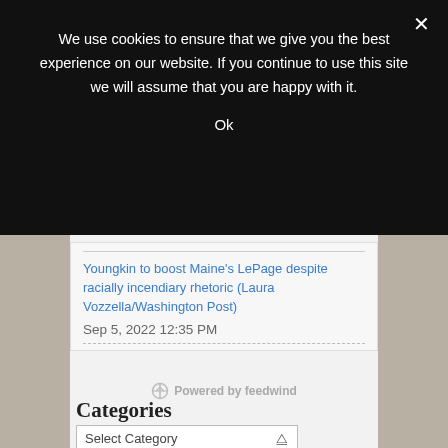We use cookies to ensure that we give you the best experience on our website. If you continue to use this site we will assume that you are happy with it.
Ok
Youngkin to boost Maine's LePage despite racially incendiary rhetoric (Laura Vozzella/Washington Post)
Sep 5, 2022 12:35 PM
Powered by feedwind
Categories
Select Category